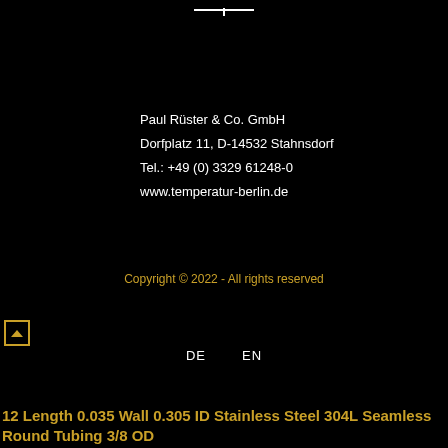[Figure (other): Small horizontal line with a vertical tick mark at center, white on black background, at top of page]
Paul Rüster & Co. GmbH
Dorfplatz 11, D-14532 Stahnsdorf
Tel.: +49 (0) 3329 61248-0
www.temperatur-berlin.de
Copyright © 2022 - All rights reserved
[Figure (other): Small up-arrow icon in a box, gold/yellow color]
DE   EN
12 Length 0.035 Wall 0.305 ID Stainless Steel 304L Seamless Round Tubing 3/8 OD